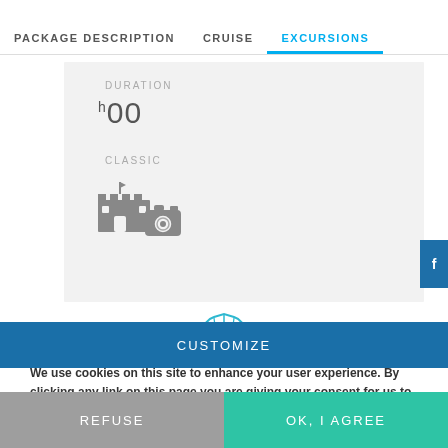PACKAGE DESCRIPTION    CRUISE    EXCURSIONS
DURATION
h00
CLASSIC
[Figure (illustration): Castle and camera icons representing classic sightseeing excursion category]
[Figure (logo): Shell/scallop logo icon in blue outline]
We use cookies on this site to enhance your user experience. By clicking any link on this page you are giving your consent for us to set cookies.For more details, click on "Learn more".
CUSTOMIZE
REFUSE
OK, I AGREE